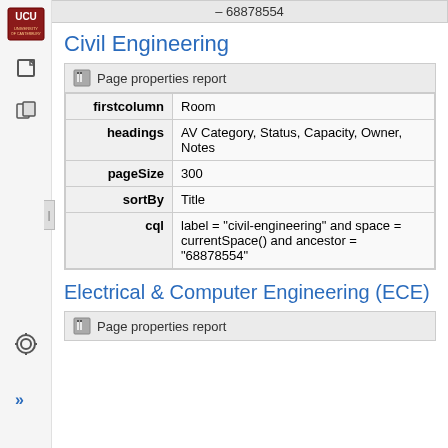[Figure (logo): UCU university logo in top left sidebar]
– 68878554
Civil Engineering
| firstcolumn | Room |
| headings | AV Category, Status, Capacity, Owner, Notes |
| pageSize | 300 |
| sortBy | Title |
| cql | label = "civil-engineering" and space = currentSpace() and ancestor = "68878554" |
Electrical & Computer Engineering (ECE)
Page properties report